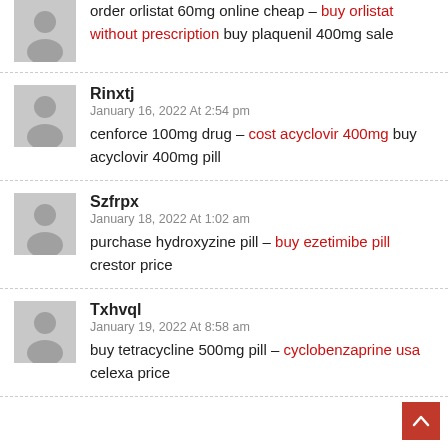order orlistat 60mg online cheap – buy orlistat without prescription buy plaquenil 400mg sale
Rinxtj
January 16, 2022 At 2:54 pm
cenforce 100mg drug – cost acyclovir 400mg buy acyclovir 400mg pill
Szfrpx
January 18, 2022 At 1:02 am
purchase hydroxyzine pill – buy ezetimibe pill crestor price
Txhvql
January 19, 2022 At 8:58 am
buy tetracycline 500mg pill – cyclobenzaprine usa celexa price